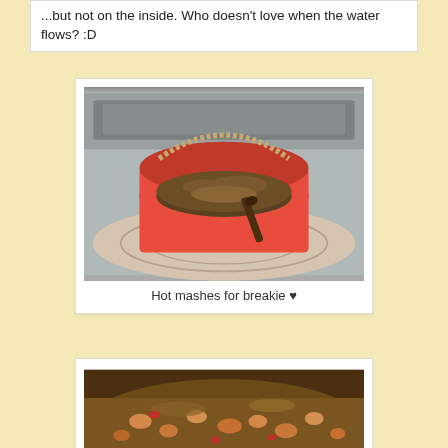...but not on the inside. Who doesn't love when the water flows? :D
[Figure (photo): A red bucket with a rope handle filled with brown powdery mash mixture and a dark spoon, sitting on a decorative cloth surface near an appliance. Caption: Hot mashes for breakie ♥]
Hot mashes for breakie ♥
[Figure (photo): A close-up of a pot or bowl containing a thick stew or bean soup with visible red and orange beans in a dark broth.]